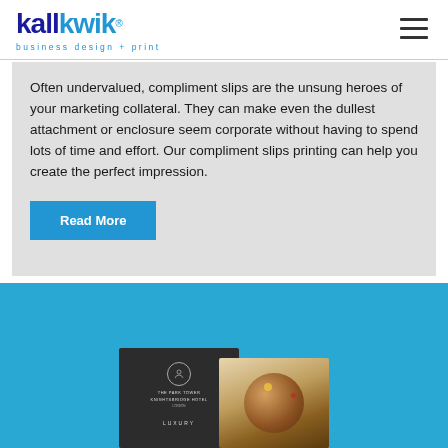[Figure (logo): Kall Kwik logo with tagline 'business design + print' and hamburger menu icon]
Often undervalued, compliment slips are the unsung heroes of your marketing collateral. They can make even the dullest attachment or enclosure seem corporate without having to spend lots of time and effort. Our compliment slips printing can help you create the perfect impression.
Read More
[Figure (photo): Blue section with business card mockups — a dark card with 'The Park Tower Knightsbridge Hotel London' and 'LUXURY' text, and a card showing food photography]